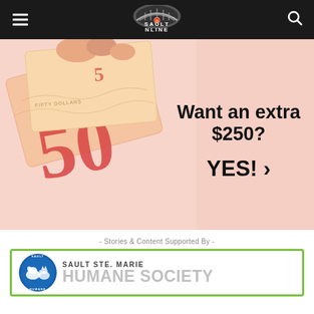SAULT ONLINE
[Figure (photo): Advertisement showing Canadian $50 bills being held by a hand, with text 'Want an extra $250? YES! >' on the right side]
- Stories & Content Supported By -
[Figure (logo): Sault Ste. Marie Humane Society logo - circular blue badge with dog and cat silhouettes, with text 'SAULT STE. MARIE HUMANE SOCIETY' in green-bordered card]